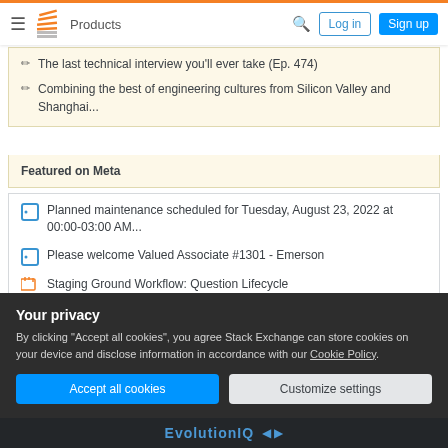Stack Overflow navigation bar with hamburger menu, logo, Products, search icon, Log in, Sign up
The last technical interview you'll ever take (Ep. 474)
Combining the best of engineering cultures from Silicon Valley and Shanghai...
Featured on Meta
Planned maintenance scheduled for Tuesday, August 23, 2022 at 00:00-03:00 AM...
Please welcome Valued Associate #1301 - Emerson
Staging Ground Workflow: Question Lifecycle
Your privacy
By clicking "Accept all cookies", you agree Stack Exchange can store cookies on your device and disclose information in accordance with our Cookie Policy.
Accept all cookies   Customize settings
EvolutionIQ